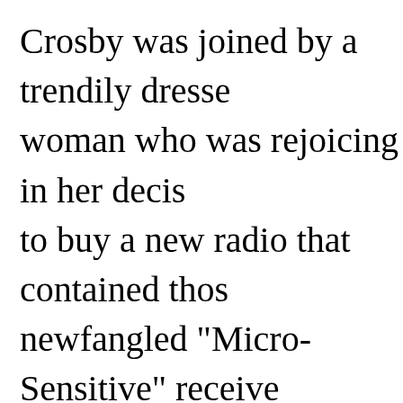Crosby was joined by a trendily dressed woman who was rejoicing in her decision to buy a new radio that contained those newfangled "Micro-Sensitive" receiver tubes. Radio was considered a mystical entity by most people, and in 1934 there were still many households that did not own one of any sort. Rural residences often did not have electricity and relied on storage batteries to power machines of this